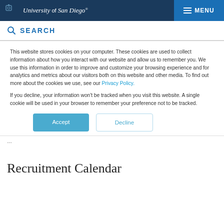University of San Diego — MENU
SEARCH
This website stores cookies on your computer. These cookies are used to collect information about how you interact with our website and allow us to remember you. We use this information in order to improve and customize your browsing experience and for analytics and metrics about our visitors both on this website and other media. To find out more about the cookies we use, see our Privacy Policy.
If you decline, your information won't be tracked when you visit this website. A single cookie will be used in your browser to remember your preference not to be tracked.
Accept  Decline
…
Recruitment Calendar